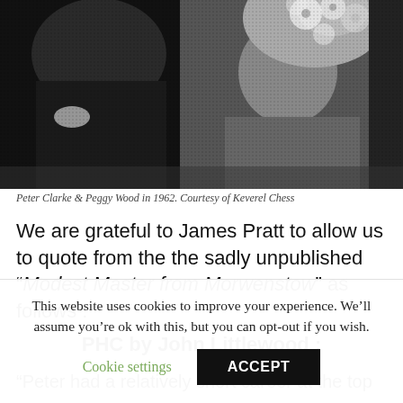[Figure (photo): Black and white photograph of Peter Clarke and Peggy Wood in 1962, showing two people, one with a floral hat/corsage, courtesy of Keverel Chess.]
Peter Clarke & Peggy Wood in 1962. Courtesy of Keverel Chess
We are grateful to James Pratt to allow us to quote from the the sadly unpublished “Modest Master from Morwenstow” as follows :
PHC by John Littlewood :
“Peter had a relatively short career at the top and it is
This website uses cookies to improve your experience. We’ll assume you’re ok with this, but you can opt-out if you wish.